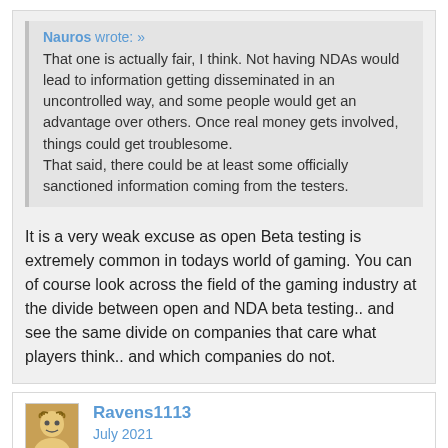Nauros wrote: »
That one is actually fair, I think. Not having NDAs would lead to information getting disseminated in an uncontrolled way, and some people would get an advantage over others. Once real money gets involved, things could get troublesome.
That said, there could be at least some officially sanctioned information coming from the testers.
It is a very weak excuse as open Beta testing is extremely common in todays world of gaming. You can of course look across the field of the gaming industry at the divide between open and NDA beta testing.. and see the same divide on companies that care what players think.. and which companies do not.
Ravens1113
July 2021